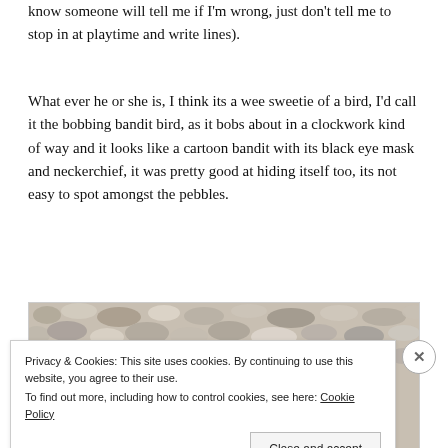know someone will tell me if I'm wrong, just don't tell me to stop in at playtime and write lines).
What ever he or she is, I think its a wee sweetie of a bird, I'd call it the bobbing bandit bird, as it bobs about in a clockwork kind of way and it looks like a cartoon bandit with its black eye mask and neckerchief, it was pretty good at hiding itself too, its not easy to spot amongst the pebbles.
[Figure (photo): Photograph of pebbles on a beach, partially obscured by a cookie consent banner overlay.]
Privacy & Cookies: This site uses cookies. By continuing to use this website, you agree to their use. To find out more, including how to control cookies, see here: Cookie Policy
Close and accept